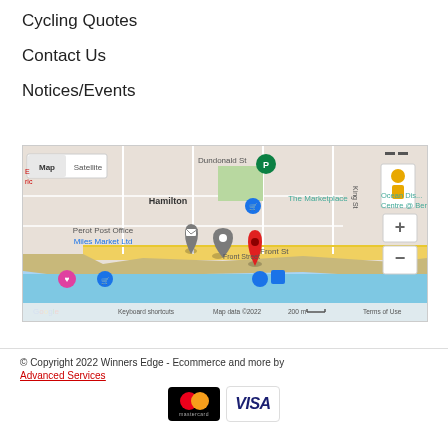Cycling Quotes
Contact Us
Notices/Events
[Figure (map): Google Map showing Hamilton, Bermuda area with pins for The Marketplace, Perot Post Office, Miles Market Ltd, Ocean Discovery Centre @ Bermuda, and a red location pin on Front Street area. Shows Map/Satellite toggle controls, zoom buttons, and Google branding. Map data ©2022, 200m scale, Keyboard shortcuts, Terms of Use.]
© Copyright 2022 Winners Edge - Ecommerce and more by Advanced Services
[Figure (logo): Mastercard and Visa payment logos]